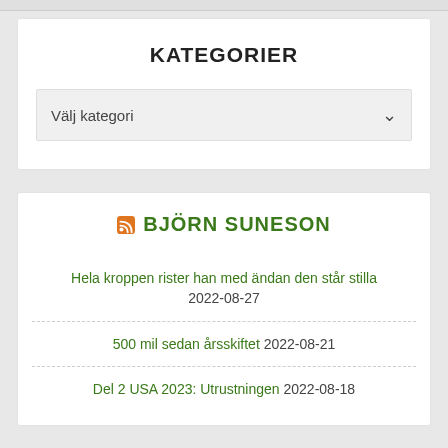KATEGORIER
Välj kategori
BJÖRN SUNESON
Hela kroppen rister han med ändan den står stilla 2022-08-27
500 mil sedan årsskiftet 2022-08-21
Del 2 USA 2023: Utrustningen 2022-08-18